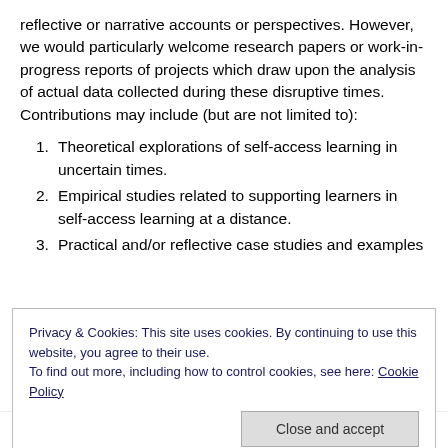reflective or narrative accounts or perspectives. However, we would particularly welcome research papers or work-in-progress reports of projects which draw upon the analysis of actual data collected during these disruptive times. Contributions may include (but are not limited to):
1. Theoretical explorations of self-access learning in uncertain times.
2. Empirical studies related to supporting learners in self-access learning at a distance.
3. Practical and/or reflective case studies and examples
Privacy & Cookies: This site uses cookies. By continuing to use this website, you agree to their use.
To find out more, including how to control cookies, see here: Cookie Policy
Please note: Although online language teaching is a topic